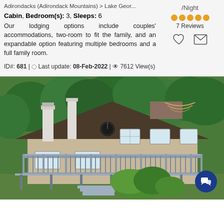Adirondacks (Adirondack Mountains) > Lake Geor...
Cabin, Bedroom(s): 3, Sleeps: 6
Our lodging options include couples' accommodations, two-room to fit the family, and an expandable option featuring multiple bedrooms and a full family room.
ID#: 681 | Last update: 08-Feb-2022 | 7612 View(s)
/Night
7 Reviews
[Figure (photo): Exterior photo of a two-story cabin with large wraparound deck, chimney, satellite dish, surrounded by green trees and shrubbery]